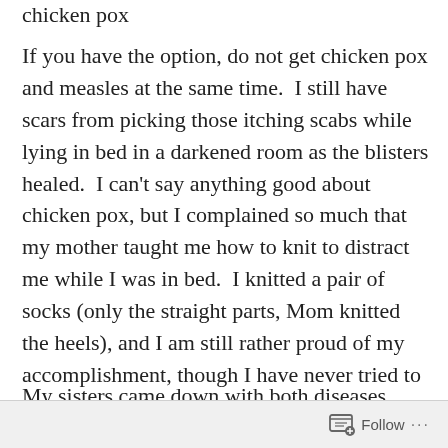chicken pox
If you have the option, do not get chicken pox and measles at the same time.  I still have scars from picking those itching scabs while lying in bed in a darkened room as the blisters healed.  I can't say anything good about chicken pox, but I complained so much that my mother taught me how to knit to distract me while I was in bed.  I knitted a pair of socks (only the straight parts, Mom knitted the heels), and I am still rather proud of my accomplishment, though I have never tried to duplicate the feat.
My sisters came down with both diseases, which
Follow ...